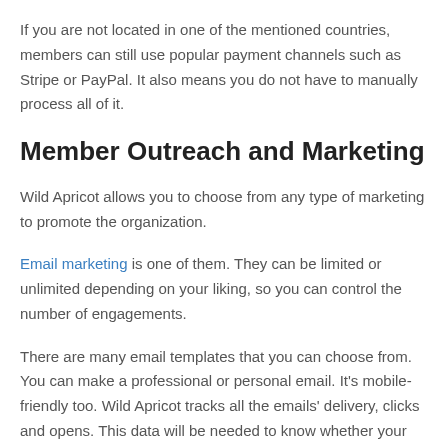If you are not located in one of the mentioned countries, members can still use popular payment channels such as Stripe or PayPal. It also means you do not have to manually process all of it.
Member Outreach and Marketing
Wild Apricot allows you to choose from any type of marketing to promote the organization.
Email marketing is one of them. They can be limited or unlimited depending on your liking, so you can control the number of engagements.
There are many email templates that you can choose from. You can make a professional or personal email. It's mobile-friendly too. Wild Apricot tracks all the emails' delivery, clicks and opens. This data will be needed to know whether your strategy is working.